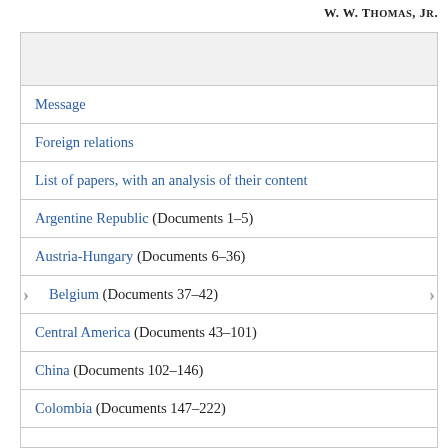W. W. THOMAS, Jr.
Message
Foreign relations
List of papers, with an analysis of their content
Argentine Republic (Documents 1-5)
Austria-Hungary (Documents 6-36)
Belgium (Documents 37-42)
Central America (Documents 43-101)
China (Documents 102-146)
Colombia (Documents 147-222)